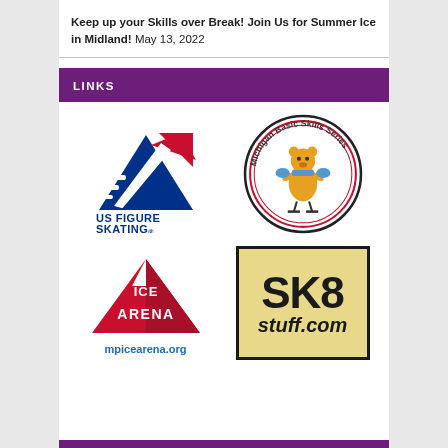Keep up your Skills over Break! Join Us for Summer Ice in Midland! May 13, 2022
LINKS
[Figure (logo): US Figure Skating logo with red and blue stylized skater graphic and text US FIGURE SKATING]
[Figure (logo): Michigan Basic Skills Series circular logo with cartoon bear skating figure]
[Figure (logo): Ice Arena logo with red mountain triangle shape and text ICE ARENA, with mpicearena.org link below]
[Figure (logo): SK8stuff.com logo with tan/yellow background and black bold text SK8 stuff.com]